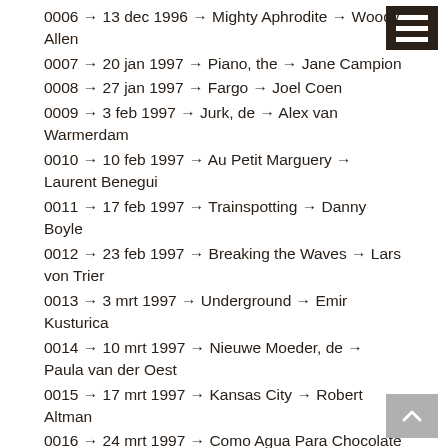0006 → 13 dec 1996 → Mighty Aphrodite → Woody Allen
0007 → 20 jan 1997 → Piano, the → Jane Campion
0008 → 27 jan 1997 → Fargo → Joel Coen
0009 → 3 feb 1997 → Jurk, de → Alex van Warmerdam
0010 → 10 feb 1997 → Au Petit Marguery → Laurent Benegui
0011 → 17 feb 1997 → Trainspotting → Danny Boyle
0012 → 23 feb 1997 → Breaking the Waves → Lars von Trier
0013 → 3 mrt 1997 → Underground → Emir Kusturica
0014 → 10 mrt 1997 → Nieuwe Moeder, de → Paula van der Oest
0015 → 17 mrt 1997 → Kansas City → Robert Altman
0016 → 24 mrt 1997 → Como Agua Para Chocolate → Alfonso Arau
0017 → 7 apr 1997 → Huitième Jour, Le → Jaco van Dormael